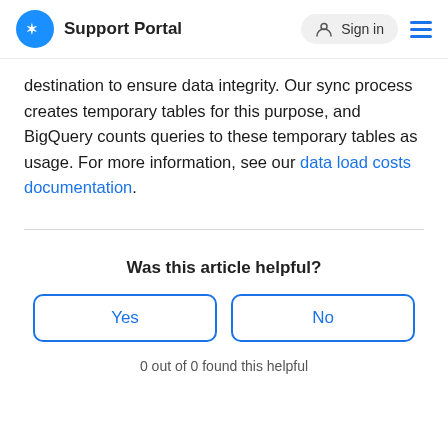Support Portal  Sign in
destination to ensure data integrity. Our sync process creates temporary tables for this purpose, and BigQuery counts queries to these temporary tables as usage. For more information, see our data load costs documentation.
Was this article helpful?
Yes   No
0 out of 0 found this helpful